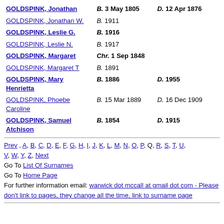| GOLDSPINK, Jonathan | B. 3 May 1805 | D. 12 Apr 1876 |
| GOLDSPINK, Jonathan W. | B. 1911 |  |
| GOLDSPINK, Leslie G. | B. 1916 |  |
| GOLDSPINK, Leslie N. | B. 1917 |  |
| GOLDSPINK, Margaret | Chr. 1 Sep 1848 |  |
| GOLDSPINK, Margaret T | B. 1891 |  |
| GOLDSPINK, Mary Henrietta | B. 1886 | D. 1955 |
| GOLDSPINK, Phoebe Caroline | B. 15 Mar 1889 | D. 16 Dec 1909 |
| GOLDSPINK, Samuel Atchison | B. 1854 | D. 1915 |
Prev , A, B, C, D, E, F, G, H, I, J, K, L, M, N, O, P, Q, R, S, T, U, V, W, Y, Z, Next
Go To List Of Surnames
Go To Home Page
For further information email: warwick dot mccall at gmail dot com - Please don't link to pages, they change all the time, link to surname page